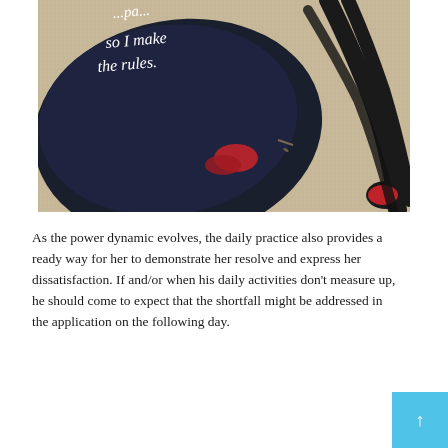[Figure (photo): A dark navy/black bag or item of clothing lying on a beige carpet, with white cursive/script text visible reading 'so I make the rules.' A black resistance band or strap is visible in the upper right. Red accents are visible near the bag.]
As the power dynamic evolves, the daily practice also provides a ready way for her to demonstrate her resolve and express her dissatisfaction. If and/or when his daily activities don't measure up, he should come to expect that the shortfall might be addressed in the application on the following day.